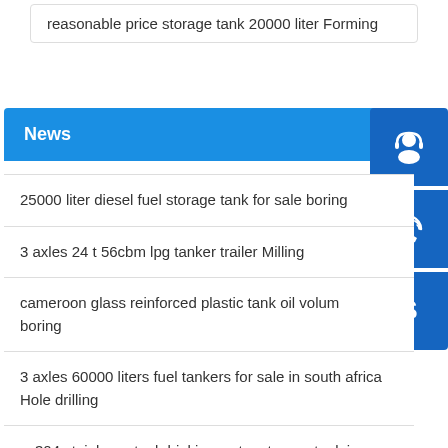reasonable price storage tank 20000 liter Forming
News
25000 liter diesel fuel storage tank for sale boring
3 axles 24 t 56cbm lpg tanker trailer Milling
cameroon glass reinforced plastic tank oil volume boring
3 axles 60000 liters fuel tankers for sale in south africa Hole drilling
ss304 stainless steel drinking water storage tank in south a Strip surfacing wel
pp storage tank with ce approved export Assembling